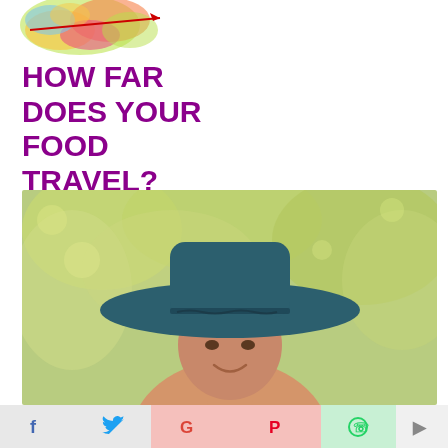[Figure (illustration): Colorful watercolor world map with a red arrow, partial view at top of page]
HOW FAR DOES YOUR FOOD TRAVEL?
[Figure (photo): A woman wearing a wide-brimmed teal hat, smiling, with a blurred green background]
[Figure (infographic): Social media sharing bar with icons for Facebook, Twitter, Google+, Pinterest, WhatsApp, and another platform]